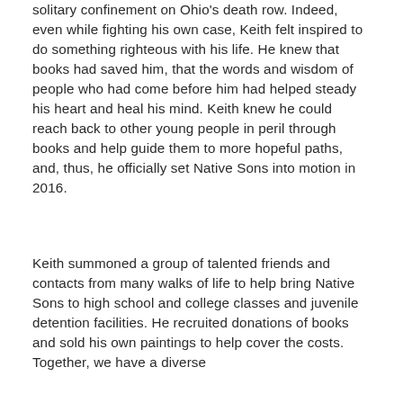solitary confinement on Ohio's death row. Indeed, even while fighting his own case, Keith felt inspired to do something righteous with his life. He knew that books had saved him, that the words and wisdom of people who had come before him had helped steady his heart and heal his mind. Keith knew he could reach back to other young people in peril through books and help guide them to more hopeful paths, and, thus, he officially set Native Sons into motion in 2016.
Keith summoned a group of talented friends and contacts from many walks of life to help bring Native Sons to high school and college classes and juvenile detention facilities. He recruited donations of books and sold his own paintings to help cover the costs. Together, we have a diverse